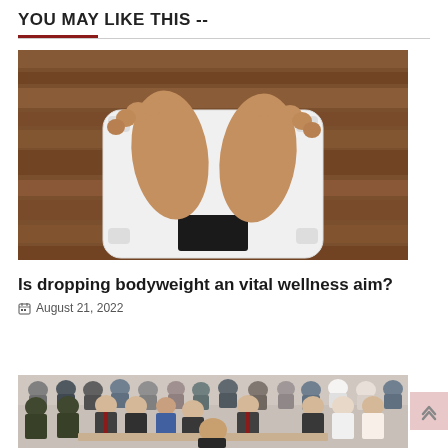YOU MAY LIKE THIS --
[Figure (photo): Overhead view of bare feet standing on a white digital bathroom scale on a wooden floor]
Is dropping bodyweight an vital wellness aim?
August 21, 2022
[Figure (photo): Courtroom scene with people standing, including officials, lawyers, and audience members in a crowded courtroom]